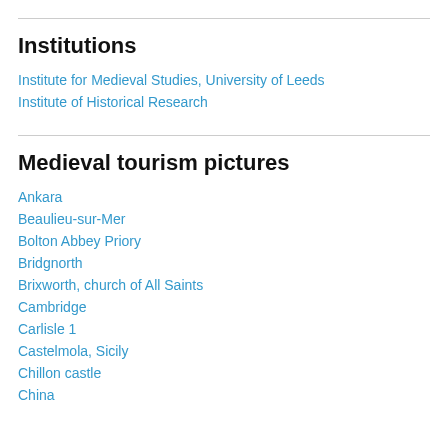Institutions
Institute for Medieval Studies, University of Leeds
Institute of Historical Research
Medieval tourism pictures
Ankara
Beaulieu-sur-Mer
Bolton Abbey Priory
Bridgnorth
Brixworth, church of All Saints
Cambridge
Carlisle 1
Castelmola, Sicily
Chillon castle
China